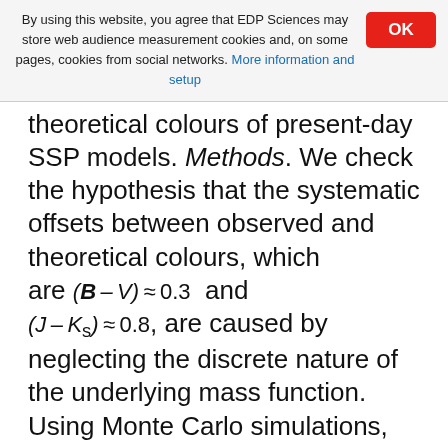By using this website, you agree that EDP Sciences may store web audience measurement cookies and, on some pages, cookies from social networks. More information and setup
theoretical colours of present-day SSP models. Methods. We check the hypothesis that the systematic offsets between observed and theoretical colours, which are (B – V) ≈ 0.3 and (J – Ks) ≈ 0.8, are caused by neglecting the discrete nature of the underlying mass function. Using Monte Carlo simulations, we construct artificial clusters of coeval stars taken from a mass distribution defined by an Salpeter initial mass function (IMF) and compare them with corresponding ``continuous-IMF'' SSP models. Results. If the discreteness of the IMF is taken into account, the model fits the observations perfectly and is able to explain naturally a number